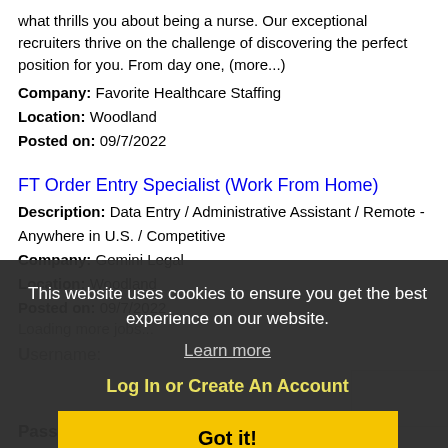what thrills you about being a nurse. Our exceptional recruiters thrive on the challenge of discovering the perfect position for you. From day one, (more...)
Company: Favorite Healthcare Staffing
Location: Woodland
Posted on: 09/7/2022
FT Order Entry Specialist (Work From Home)
Description: Data Entry / Administrative Assistant / Remote - Anywhere in U.S. / Competitive
Company: Gemini Legal
Location: Woodland
Posted on: 09/7/2022
Loading more jobs...
This website uses cookies to ensure you get the best experience on our website.
Learn more
Log In or Create An Account
Username:
Got it!
Password: